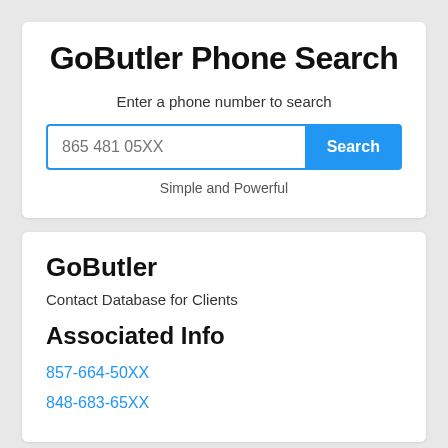GoButler Phone Search
Enter a phone number to search
865 481 05XX
Search
Simple and Powerful
GoButler
Contact Database for Clients
Associated Info
857-664-50XX
848-683-65XX